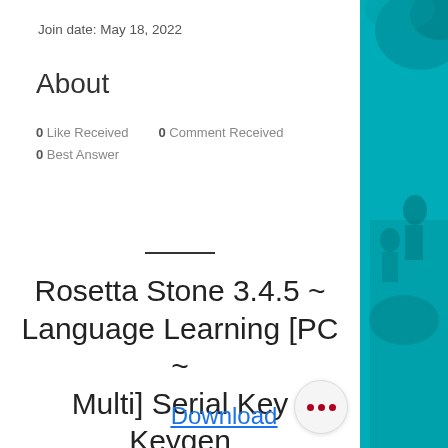Join date: May 18, 2022
About
0 Like Received   0 Comment Received
0 Best Answer
Rosetta Stone 3.4.5 ~ Language Learning [PC ~ Multi] Serial Key Keygen
Download
[Figure (photo): Teal/cyan tinted photo of people outdoors, used as decorative right panel background]